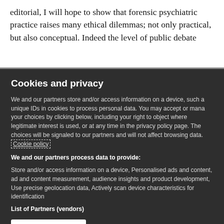editorial, I will hope to show that forensic psychiatric practice raises many ethical dilemmas; not only practical, but also conceptual. Indeed the level of public debate
Cookies and privacy
We and our partners store and/or access information on a device, such as unique IDs in cookies to process personal data. You may accept or manage your choices by clicking below, including your right to object where legitimate interest is used, or at any time in the privacy policy page. These choices will be signaled to our partners and will not affect browsing data. Cookie policy
We and our partners process data to provide:
Store and/or access information on a device, Personalised ads and content, ad and content measurement, audience insights and product development, Use precise geolocation data, Actively scan device characteristics for identification
List of Partners (vendors)
I Accept